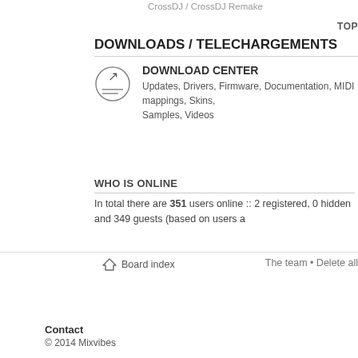CrossDJ / CrossDJ Remake
DOWNLOADS / TELECHARGEMENTS
DOWNLOAD CENTER
Updates, Drivers, Firmware, Documentation, MIDI mappings, Skins, Samples, Videos
WHO IS ONLINE
In total there are 351 users online :: 2 registered, 0 hidden and 349 guests (based on users a
Board index
The team • Delete all
Contact
© 2014 Mixvibes